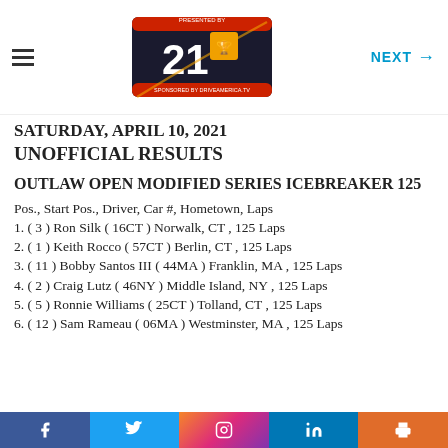NEXT →
[Figure (logo): Race of Champions event logo with '21' and sponsor branding]
SATURDAY, APRIL 10, 2021
UNOFFICIAL RESULTS
OUTLAW OPEN MODIFIED SERIES ICEBREAKER 125
Pos., Start Pos., Driver, Car #, Hometown, Laps
1. ( 3 ) Ron Silk ( 16CT ) Norwalk, CT , 125 Laps
2. ( 1 ) Keith Rocco ( 57CT ) Berlin, CT , 125 Laps
3. ( 11 ) Bobby Santos III ( 44MA ) Franklin, MA , 125 Laps
4. ( 2 ) Craig Lutz ( 46NY ) Middle Island, NY , 125 Laps
5. ( 5 ) Ronnie Williams ( 25CT ) Tolland, CT , 125 Laps
6. ( 12 ) Sam Rameau ( 06MA ) Westminster, MA , 125 Laps
Social share bar: Facebook, Twitter, Instagram, LinkedIn, Print